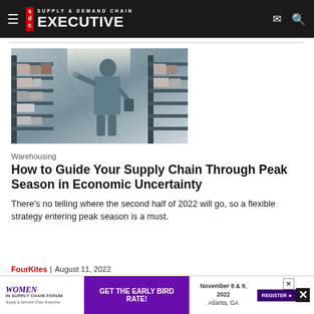Supply & Demand Chain Executive
[Figure (photo): Person in a warehouse reaching toward shelves filled with boxes and packages, holding a tablet or clipboard.]
Warehousing
How to Guide Your Supply Chain Through Peak Season in Economic Uncertainty
There's no telling where the second half of 2022 will go, so a flexible strategy entering peak season is a must.
FourKites | August 11, 2022